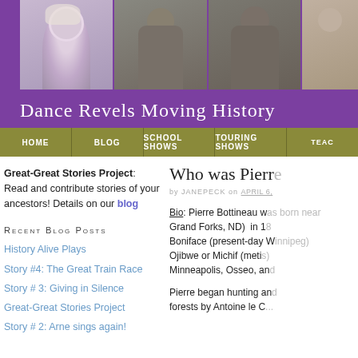[Figure (photo): Header banner with purple background showing historical costumed figures/photos of people in period dress]
Dance Revels Moving History
HOME | BLOG | SCHOOL SHOWS | TOURING SHOWS | TEAC...
Great-Great Stories Project: Read and contribute stories of your ancestors! Details on our blog
Recent Blog Posts
History Alive Plays
Story #4: The Great Train Race
Story # 3: Giving in Silence
Great-Great Stories Project
Story # 2: Arne sings again!
Who was Pierr...
by JANEPECK on APRIL 6,...
Bio: Pierre Bottineau w... Grand Forks, ND) in 1... Boniface (present-day W... Ojibwe or Michif (meti... Minneapolis, Osseo, an...
Pierre began hunting an... forests by Antoine le C...